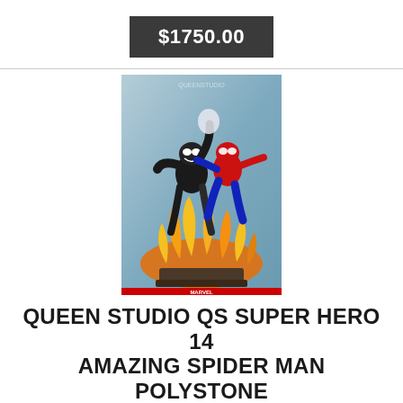$1750.00
[Figure (photo): Product photo of Queen Studio QS Super Hero 1/4 Amazing Spider-Man polystone painted model statue, showing Spider-Man and Venom-like figure on a fiery base]
QUEEN STUDIO QS SUPER HERO 14 AMAZING SPIDER MAN POLYSTONE PAINTED MODEL STATUE
Demon Slayer. Polaroid Statue. Hunter X Hunter. Dont Worrythere Is No More